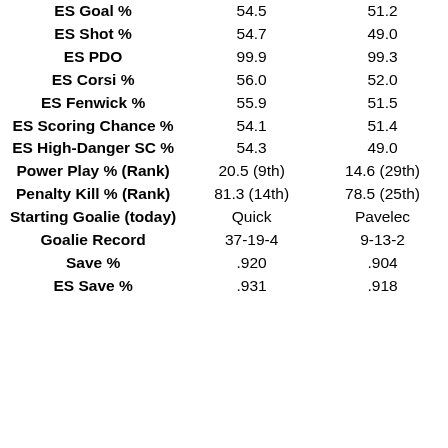| Stat | Team1 | Team2 |
| --- | --- | --- |
| ES Goal % | 54.5 | 51.2 |
| ES Shot % | 54.7 | 49.0 |
| ES PDO | 99.9 | 99.3 |
| ES Corsi % | 56.0 | 52.0 |
| ES Fenwick % | 55.9 | 51.5 |
| ES Scoring Chance % | 54.1 | 51.4 |
| ES High-Danger SC % | 54.3 | 49.0 |
| Power Play % (Rank) | 20.5 (9th) | 14.6 (29th) |
| Penalty Kill % (Rank) | 81.3 (14th) | 78.5 (25th) |
| Starting Goalie (today) | Quick | Pavelec |
| Goalie Record | 37-19-4 | 9-13-2 |
| Save % | .920 | .904 |
| ES Save % | .931 | .918 |